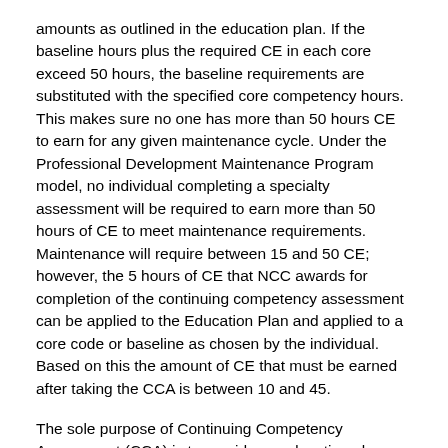amounts as outlined in the education plan. If the baseline hours plus the required CE in each core exceed 50 hours, the baseline requirements are substituted with the specified core competency hours.  This makes sure no one has more than 50 hours CE to earn for any given maintenance cycle. Under the Professional Development Maintenance Program model, no individual completing a specialty assessment will be required to earn more than 50 hours of CE to meet maintenance requirements. Maintenance will require between 15 and 50 CE; however, the 5 hours of CE that NCC awards for completion of the continuing competency assessment can be applied to the Education Plan and applied to a core code or baseline as chosen by the individual. Based on this the amount of CE that must be earned after taking the CCA is between 10 and 45.
The sole purpose of Continuing Competency Assessment (CCA)  is to provide an education plan that reflects both the strengths and gaps in core competency knowledge.  The CCA has no pass/fail and does not